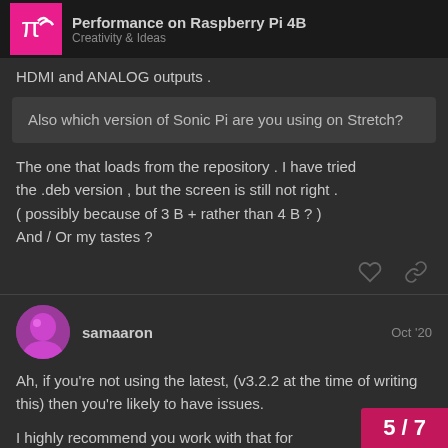Performance on Raspberry Pi 4B – Creativity & Ideas
HDMI and ANALOG outputs .
Also which version of Sonic Pi are you using on Stretch?
The one that loads from the repository . I have tried the .deb version , but the screen is still not right . ( possibly because of 3 B + rather than 4 B ? ) And / Or my tastes ?
samaaron  Oct '20
Ah, if you're not using the latest, (v3.2.2 at the time of writing this) then you're likely to have issues.
I highly recommend you work with that for
5 / 7